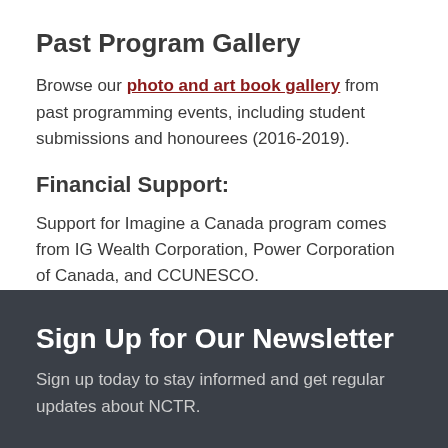Past Program Gallery
Browse our photo and art book gallery from past programming events, including student submissions and honourees (2016-2019).
Financial Support:
Support for Imagine a Canada program comes from IG Wealth Corporation, Power Corporation of Canada, and CCUNESCO.
Sign Up for Our Newsletter
Sign up today to stay informed and get regular updates about NCTR.